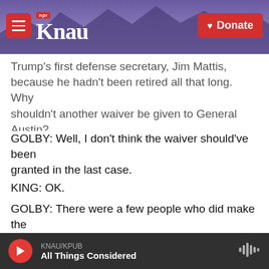KNAU NPR — Donate
Trump's first defense secretary, Jim Mattis, because he hadn't been retired all that long. Why shouldn't another waiver be given to General Austin?
GOLBY: Well, I don't think the waiver should've been granted in the last case.
KING: OK.
GOLBY: There were a few people who did make the case that they believe since Trump was a threat to constitutional governance that it was warranted to have a steady hand like Jim Mattis still running the
KNAU/KPUB — All Things Considered